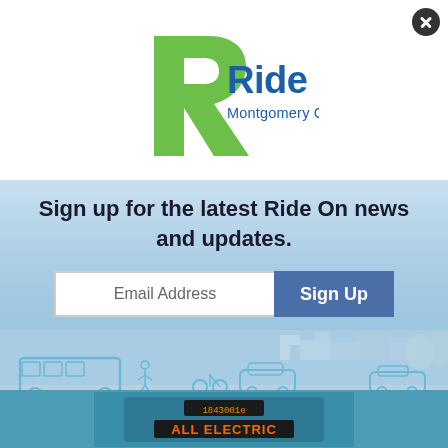[Figure (logo): Ride On Montgomery County Transit logo — green stylized R lettermark on left, blue 'Ride On' text and 'Montgomery County Transit' subtitle on right]
Sign up for the latest Ride On news and updates.
Email Address
Sign Up
No Thanks
Remind Me Later
[Figure (illustration): Light blue illustrated cityscape with bus, cars, bicycles and pedestrians silhouettes]
[Figure (photo): Photo of teal/blue bus rear displaying '1843001e' and 'ALL ELECTRIC' text]